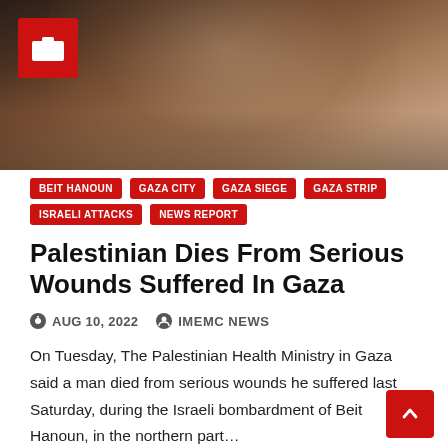[Figure (photo): Close-up photograph of a man's face and neck, wearing a keffiyeh and blue jacket, with a camera icon badge overlay in the top-left corner]
BEIT HANOUN
GAZA CITY
GAZA SIEGE
GAZA STRIP
ISRAELI ATTACKS
NEWS REPORT
Palestinian Dies From Serious Wounds Suffered In Gaza
AUG 10, 2022   IMEMC NEWS
On Tuesday, The Palestinian Health Ministry in Gaza said a man died from serious wounds he suffered last Saturday, during the Israeli bombardment of Beit Hanoun, in the northern part…